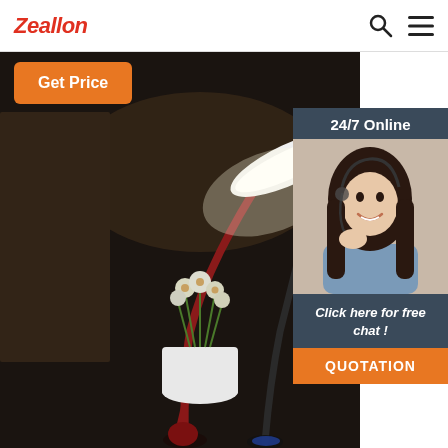Zeallon
Get Price
[Figure (photo): Product photo of designer LED desk lamps — two stylized lamps with curved necks, one dark red/burgundy and one black, with a white flower arrangement in the foreground, on a dark background]
24/7 Online
[Figure (photo): Customer service representative woman with headset smiling]
Click here for free chat !
QUOTATION